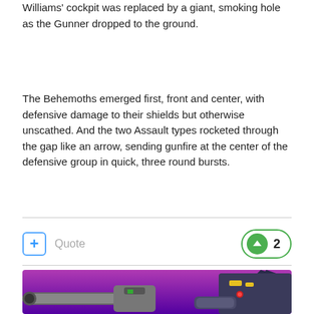Williams' cockpit was replaced by a giant, smoking hole as the Gunner dropped to the ground.
The Behemoths emerged first, front and center, with defensive damage to their shields but otherwise unscathed. And the two Assault types rocketed through the gap like an arrow, sending gunfire at the center of the defensive group in quick, three round bursts.
[Figure (illustration): A video game sprite/artwork of a mecha (robot) character holding a large gatling gun cannon, set against a purple gradient background. The robot is dark-colored with yellow accents and a pointed head crest.]